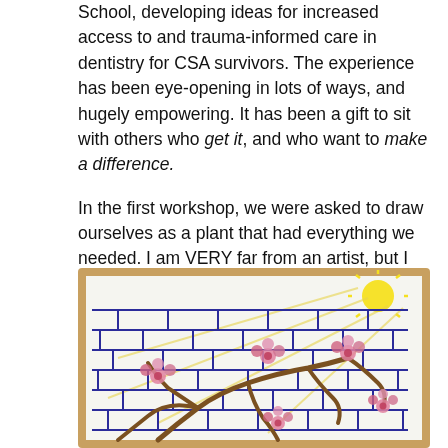School, developing ideas for increased access to and trauma-informed care in dentistry for CSA survivors. The experience has been eye-opening in lots of ways, and hugely empowering. It has been a gift to sit with others who get it, and who want to make a difference.

In the first workshop, we were asked to draw ourselves as a plant that had everything we needed. I am VERY far from an artist, but I instantly knew what plant I'd be: a pink clematis, climbing up the warm brick wall of my grandparents' house, supported and loved and feeling beautiful. This is what I drew:
[Figure (illustration): A child-like drawing of a pink clematis plant climbing up a warm brick wall, with yellow sun in upper right corner, blue horizontal lines representing bricks, brown climbing vines, and pink clematis flowers.]